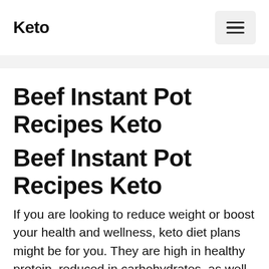Keto
Beef Instant Pot Recipes Keto
Beef Instant Pot Recipes Keto
If you are looking to reduce weight or boost your health and wellness, keto diet plans might be for you. They are high in healthy protein, reduced in carbohydrates, as well as